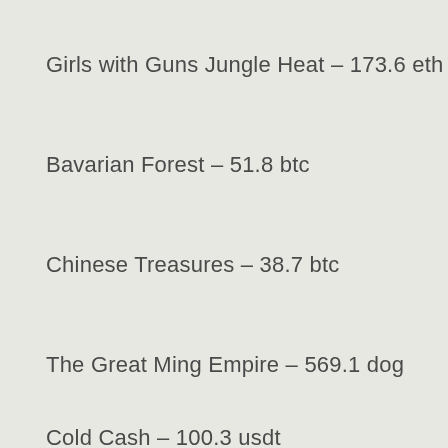Girls with Guns Jungle Heat – 173.6 eth
Bavarian Forest – 51.8 btc
Chinese Treasures – 38.7 btc
The Great Ming Empire – 569.1 dog
Cold Cash – 100.3 usdt